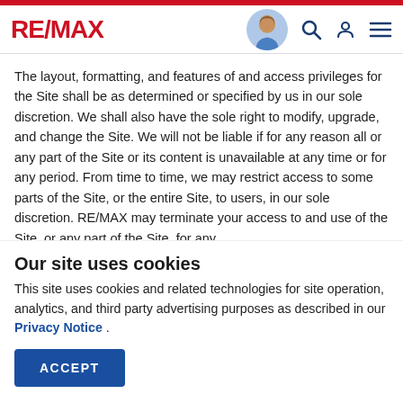RE/MAX [navigation header with agent photo, search, account, and menu icons]
The layout, formatting, and features of and access privileges for the Site shall be as determined or specified by us in our sole discretion. We shall also have the sole right to modify, upgrade, and change the Site. We will not be liable if for any reason all or any part of the Site or its content is unavailable at any time or for any period. From time to time, we may restrict access to some parts of the Site, or the entire Site, to users, in our sole discretion. RE/MAX may terminate your access to and use of the Site, or any part of the Site, for any
Our site uses cookies
This site uses cookies and related technologies for site operation, analytics, and third party advertising purposes as described in our Privacy Notice .
ACCEPT